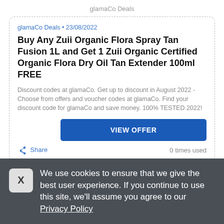glamaCo Deals
glamaCo Deals • 23/08/2022
Buy Any Zuii Organic Flora Spray Tan Fusion 1L and Get 1 Zuii Organic Certified Organic Flora Dry Oil Tan Extender 100ml FREE
Discount codes at glamaCo. Get up to discount in August 2022 - Choose from offers and voucher codes at glamaCo. Find your discount code for glamaCo and save money. 100% TESTED 2022!
VIEW OFFER
Share   0 times used
We use cookies to ensure that we give the best user experience. If you continue to use this site, we'll assume you agree to our Privacy Policy